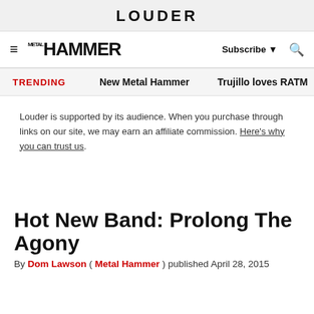LOUDER
Metal Hammer | Subscribe | Search
TRENDING   New Metal Hammer   Trujillo loves RATM
Louder is supported by its audience. When you purchase through links on our site, we may earn an affiliate commission. Here's why you can trust us.
Hot New Band: Prolong The Agony
By Dom Lawson ( Metal Hammer ) published April 28, 2015